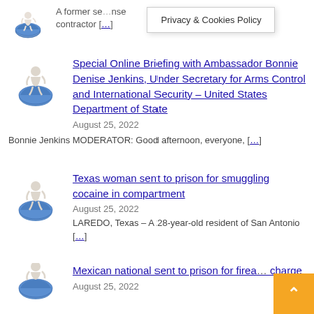A former se...nse contractor [...]
Privacy & Cookies Policy
[Figure (illustration): White figure sitting on a globe/earth illustration]
Special Online Briefing with Ambassador Bonnie Denise Jenkins, Under Secretary for Arms Control and International Security – United States Department of State
August 25, 2022
Bonnie Jenkins MODERATOR: Good afternoon, everyone, [...]
[Figure (illustration): White figure sitting on a globe/earth illustration]
Texas woman sent to prison for smuggling cocaine in compartment
August 25, 2022
LAREDO, Texas – A 28-year-old resident of San Antonio [...]
[Figure (illustration): White figure sitting on a globe/earth illustration]
Mexican national sent to prison for firea... charge
August 25, 2022